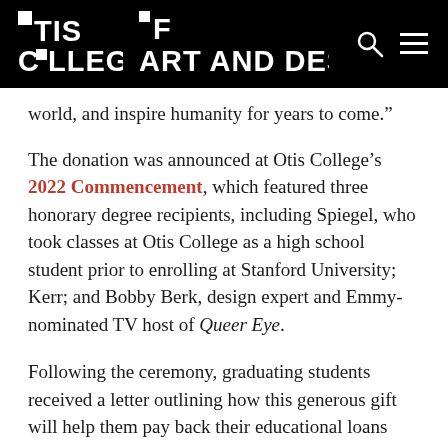OTIS COLLEGE OF ART AND DESIGN
world, and inspire humanity for years to come.”
The donation was announced at Otis College’s 2022 Commencement, which featured three honorary degree recipients, including Spiegel, who took classes at Otis College as a high school student prior to enrolling at Stanford University; Kerr; and Bobby Berk, design expert and Emmy-nominated TV host of Queer Eye.
Following the ceremony, graduating students received a letter outlining how this generous gift will help them pay back their educational loans borrowed during their time at Otis College that have been certified through its Financial Aid Office. The Spiegel family donation will also be used to create